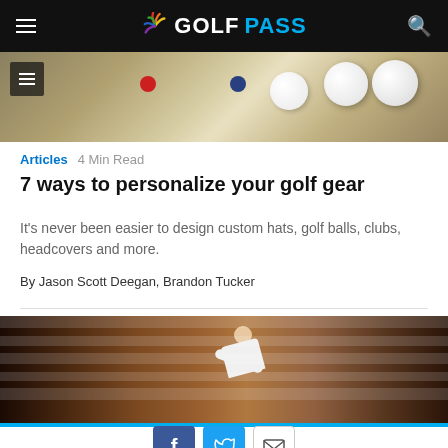GOLFPASS
[Figure (photo): Top image showing golf balls including Titleist brand balls with cardboard packaging display]
Articles  4 Min Read
7 ways to personalize your golf gear
It's never been easier to design custom hats, golf balls, clubs, headcovers and more.
By Jason Scott Deegan, Brandon Tucker
[Figure (photo): Man in white long-sleeve shirt leaning over a table in a wood-paneled room, with golf clubs visible in the background]
social share buttons: Facebook, Twitter, Email